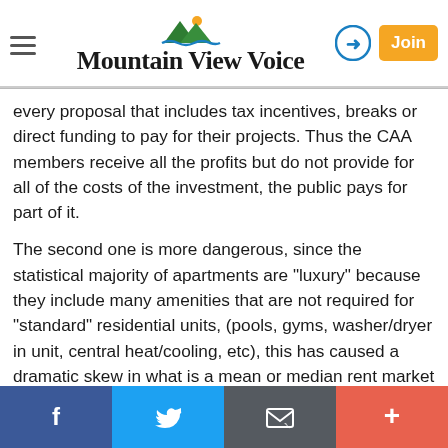Mountain View Voice
every proposal that includes tax incentives, breaks or direct funding to pay for their projects. Thus the CAA members receive all the profits but do not provide for all of the costs of the investment, the public pays for part of it.
The second one is more dangerous, since the statistical majority of apartments are "luxury" because they include many amenities that are not required for "standard" residential units, (pools, gyms, washer/dryer in unit, central heat/cooling, etc), this has caused a dramatic skew in what is a mean or median rent market rate.
In fact as much as 70% of current apartments are
Facebook Twitter Email +